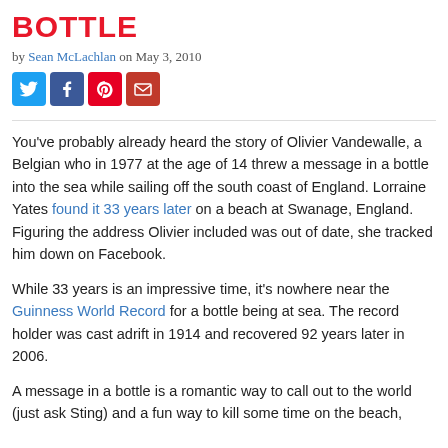BOTTLE
by Sean McLachlan on May 3, 2010
[Figure (other): Social sharing buttons: Twitter, Facebook, Pinterest, Email]
You've probably already heard the story of Olivier Vandewalle, a Belgian who in 1977 at the age of 14 threw a message in a bottle into the sea while sailing off the south coast of England. Lorraine Yates found it 33 years later on a beach at Swanage, England. Figuring the address Olivier included was out of date, she tracked him down on Facebook.
While 33 years is an impressive time, it's nowhere near the Guinness World Record for a bottle being at sea. The record holder was cast adrift in 1914 and recovered 92 years later in 2006.
A message in a bottle is a romantic way to call out to the world (just ask Sting) and a fun way to kill some time on the beach,